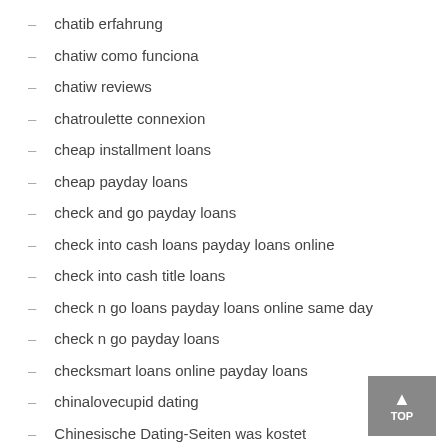chatib erfahrung
chatiw como funciona
chatiw reviews
chatroulette connexion
cheap installment loans
cheap payday loans
check and go payday loans
check into cash loans payday loans online
check into cash title loans
check n go loans payday loans online same day
check n go payday loans
checksmart loans online payday loans
chinalovecupid dating
Chinesische Dating-Seiten was kostet
Choice of Love kostenlos